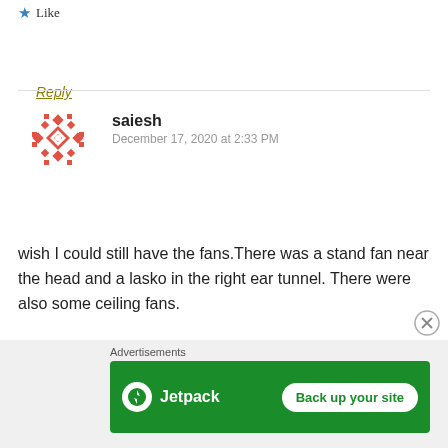Like
Reply
saiesh
December 17, 2020 at 2:33 PM
wish I could still have the fans.There was a stand fan near the head and a lasko in the right ear tunnel. There were also some ceiling fans.
Like
[Figure (infographic): Jetpack advertisement banner with green background showing Jetpack logo and 'Back up your site' button]